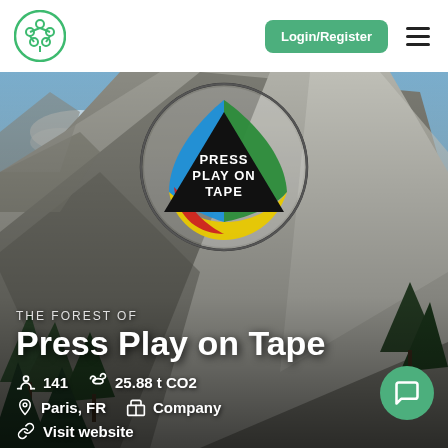[Figure (logo): Green tree/network logo icon]
Login/Register
[Figure (photo): Mountain landscape background photo (Yosemite-style cliffs with trees and blue sky)]
[Figure (logo): Press Play on Tape circular logo with colorful triangular shapes (blue, green, yellow, red layers) on black background]
THE FOREST OF
Press Play on Tape
141
25.88 t CO2
Paris, FR
Company
Visit website